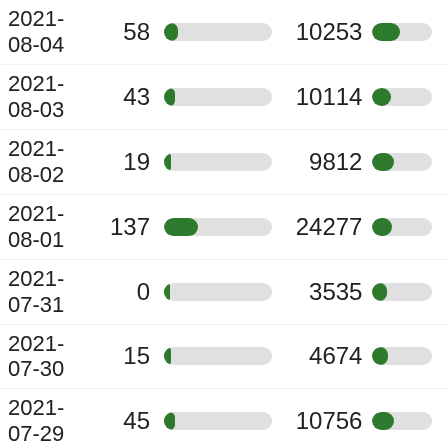| Date | Count1 | Bar1 | Count2 | Bar2 |
| --- | --- | --- | --- | --- |
| 2021-08-04 | 58 |  | 10253 |  |
| 2021-08-03 | 43 |  | 10114 |  |
| 2021-08-02 | 19 |  | 9812 |  |
| 2021-08-01 | 137 |  | 24277 |  |
| 2021-07-31 | 0 |  | 3535 |  |
| 2021-07-30 | 15 |  | 4674 |  |
| 2021-07-29 | 45 |  | 10756 |  |
| 2021-07-28 | 37 |  | 8088 |  |
| 2021-... | 31 |  | 3088 |  |